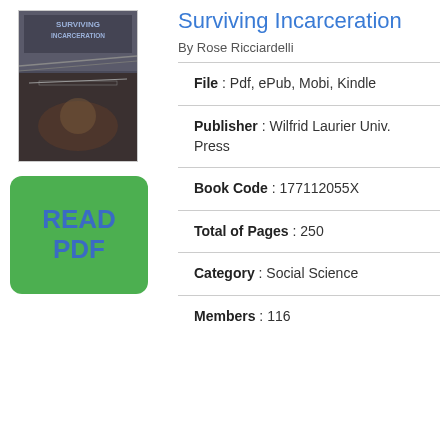[Figure (illustration): Book cover image for 'Surviving Incarceration' showing text and barbed wire imagery]
[Figure (other): Green 'READ PDF' button]
Surviving Incarceration
By Rose Ricciardelli
File : Pdf, ePub, Mobi, Kindle
Publisher : Wilfrid Laurier Univ. Press
Book Code : 177112055X
Total of Pages : 250
Category : Social Science
Members : 116